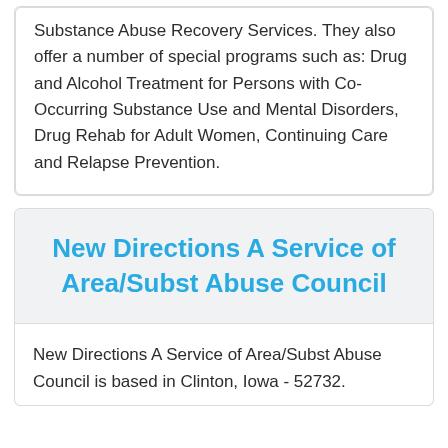Substance Abuse Recovery Services. They also offer a number of special programs such as: Drug and Alcohol Treatment for Persons with Co-Occurring Substance Use and Mental Disorders, Drug Rehab for Adult Women, Continuing Care and Relapse Prevention.
New Directions A Service of Area/Subst Abuse Council
New Directions A Service of Area/Subst Abuse Council is based in Clinton, Iowa - 52732.